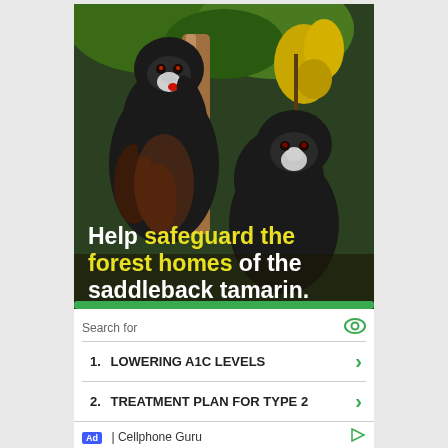[Figure (photo): Two saddleback tamarin monkeys clinging to a tree in a rainforest setting, with yellow flowers visible. Overlaid white and yellow bold text reads: 'Help safeguard the forest homes of the saddleback tamarin.' A green bar appears at the bottom of the photo.]
Search for
1.  LOWERING A1C LEVELS
2.  TREATMENT PLAN FOR TYPE 2
Ad | Cellphone Guru